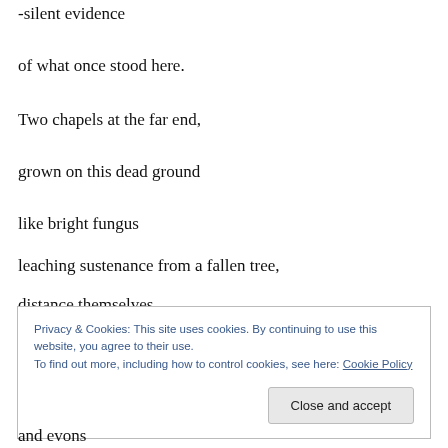-silent evidence
of what once stood here.
Two chapels at the far end,
grown on this dead ground
like bright fungus
leaching sustenance from a fallen tree,
distance themselves.
Privacy & Cookies: This site uses cookies. By continuing to use this website, you agree to their use.
To find out more, including how to control cookies, see here: Cookie Policy
and evens